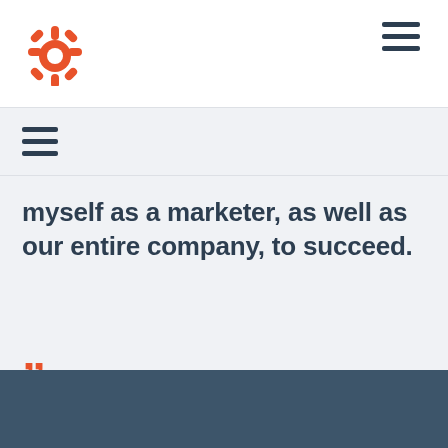HubSpot logo and navigation menu
myself as a marketer, as well as our entire company, to succeed.
”
JUSTIN HEADLEY
Marketing Manager
CubiScan